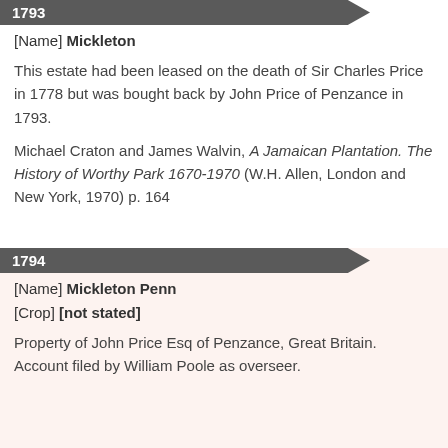1793
[Name] Mickleton
This estate had been leased on the death of Sir Charles Price in 1778 but was bought back by John Price of Penzance in 1793.
Michael Craton and James Walvin, A Jamaican Plantation. The History of Worthy Park 1670-1970 (W.H. Allen, London and New York, 1970) p. 164
1794
[Name] Mickleton Penn
[Crop] [not stated]
Property of John Price Esq of Penzance, Great Britain. Account filed by William Poole as overseer.